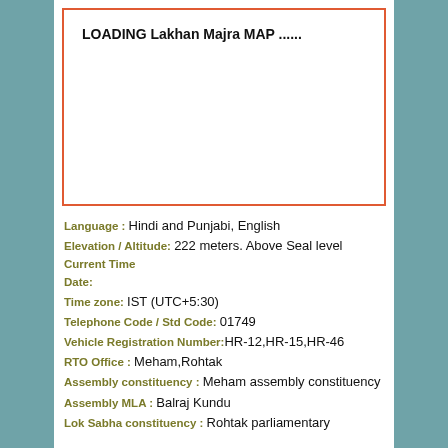[Figure (other): Map loading placeholder box with orange border showing text 'LOADING Lakhan Majra MAP ......']
Language : Hindi and Punjabi, English
Elevation / Altitude: 222 meters. Above Seal level
Current Time
Date:
Time zone: IST (UTC+5:30)
Telephone Code / Std Code: 01749
Vehicle Registration Number: HR-12,HR-15,HR-46
RTO Office : Meham,Rohtak
Assembly constituency : Meham assembly constituency
Assembly MLA : Balraj Kundu
Lok Sabha constituency : Rohtak parliamentary constituency